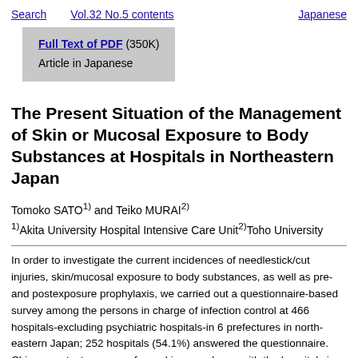Search   Vol.32 No.5 contents   Japanese
Full Text of PDF (350K)
Article in Japanese
The Present Situation of the Management of Skin or Mucosal Exposure to Body Substances at Hospitals in Northeastern Japan
Tomoko SATO1) and Teiko MURAI2)
1)Akita University Hospital Intensive Care Unit2)Toho University
In order to investigate the current incidences of needlestick/cut injuries, skin/mucosal exposure to body substances, as well as pre- and postexposure prophylaxis, we carried out a questionnaire-based survey among the persons in charge of infection control at 466 hospitals-excluding psychiatric hospitals-in 6 prefectures in north-eastern Japan; 252 hospitals (54.1%) answered the questionnaire. Chi square tests were performed in accordance with the hospital size: hospitals with 301 or more beds, or "small or medium sized hospitals" with 300 or less beds. The results were as follows: The mean number of needlestick/cut injuries per 100 occupied beds per year was 2.7 (95%